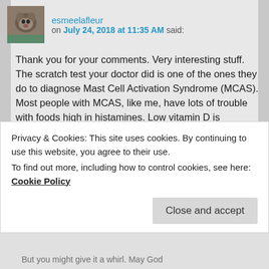esmeelafleur
on July 24, 2018 at 11:35 AM said:
Thank you for your comments. Very interesting stuff. The scratch test your doctor did is one of the ones they do to diagnose Mast Cell Activation Syndrome (MCAS). Most people with MCAS, like me, have lots of trouble with foods high in histamines. Low vitamin D is definitely linked to MCAS. I cannot personally take vitamin D supplements because they all give me migraines, but I certainly would if I could. Your dosage is spot on from what I
Privacy & Cookies: This site uses cookies. By continuing to use this website, you agree to their use.
To find out more, including how to control cookies, see here: Cookie Policy
Close and accept
But you might give it a whirl. May God